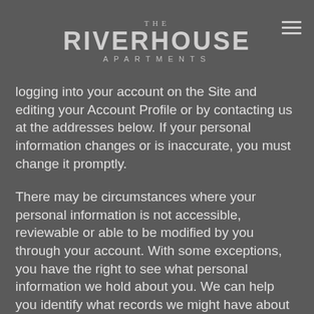THE RIVERHOUSE APARTMENTS
logging into your account on the Site and editing your Account Profile or by contacting us at the addresses below. If your personal information changes or is inaccurate, you must change it promptly.
There may be circumstances where your personal information is not accessible, reviewable or able to be modified by you through your account. With some exceptions, you have the right to see what personal information we hold about you. We can help you identify what records we might have about you and we will also try to help you understand any information you do not understand. We may need to confirm your